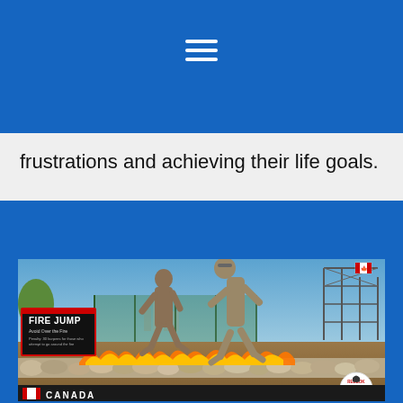[Figure (other): Blue header bar with white hamburger/menu icon (three horizontal lines) centered]
frustrations and achieving their life goals.
[Figure (photo): Outdoor obstacle course race photo showing two mud-covered runners jumping over fire at a 'FIRE JUMP' obstacle. A Reebok Spartan Race logo is visible in the bottom right corner. A Canadian flag and 'CANADA' text appear at the bottom. Rocks surround the fire pit. Scaffolding and a city skyline are visible in the background.]